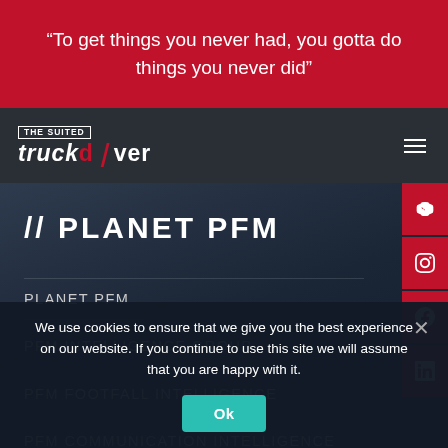“To get things you never had, you gotta do things you never did”
[Figure (logo): The Suited Truck Driver logo - white text with red accent on dark background]
// PLANET PFM
PLANET PFM
PFM INTELLIGENCE GROUP
PFM FOOTFALL INTELLIGENCE
PFM COMMUNICATION INTELLIGENCE
We use cookies to ensure that we give you the best experience on our website. If you continue to use this site we will assume that you are happy with it.